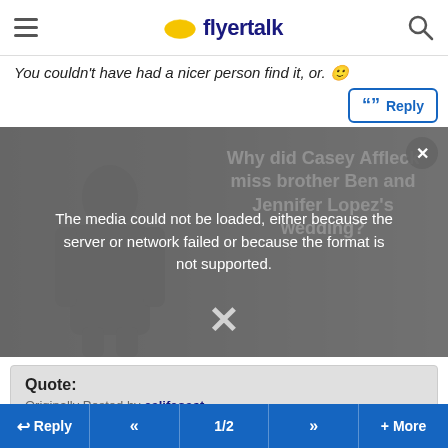flyertalk
You couldn't have had a nicer person find it, or. 🙂
" Reply
[Figure (screenshot): Video player overlay showing a dark background with a person silhouette, an ad for 'Why did Casey Affleck miss brother Ben and Jennifer Lopez's wedding?', and a media error message overlay reading 'The media could not be loaded, either because the server or network failed or because the format is not supported.' with a close X button]
Quote:
Originally Posted by califcoast
Got it - pm me your address and I will send it 🙂
Thumbs up!!!
Kinda good we can bicker about UA, but at the end of the day, we're all travelling and looking out for / willing to help
↩ Reply  «  1/2  »  + More